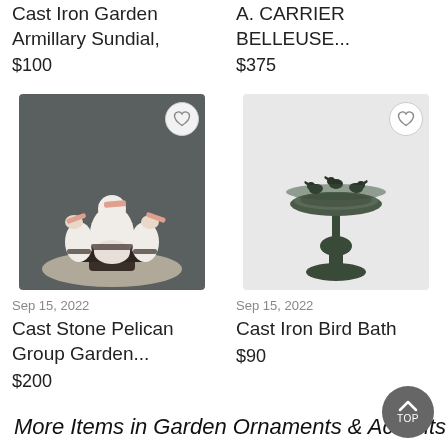Cast Iron Garden Armillary Sundial,
$100
A. CARRIER BELLEUSE...
$375
[Figure (photo): Cast stone pelican group garden sculpture — three pelican figures on a base, grey/dark background]
Sep 15, 2022
Cast Stone Pelican Group Garden...
$200
[Figure (photo): Cast iron bird bath on pedestal stand with birds on top, light grey background]
Sep 15, 2022
Cast Iron Bird Bath
$90
More Items in Garden Ornaments & Accents